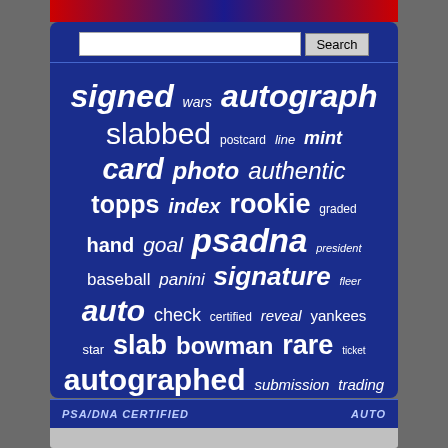[Figure (screenshot): Website screenshot showing a search bar and a tag cloud on a dark blue background with words related to sports cards and autographs: signed, wars, autograph, slabbed, postcard, line, mint, card, photo, authentic, topps, index, rookie, graded, hand, goal, psadna, president, baseball, panini, signature, fleer, auto, check, certified, reveal, yankees, star, slab, bowman, rare, ticket, autographed, submission, trading]